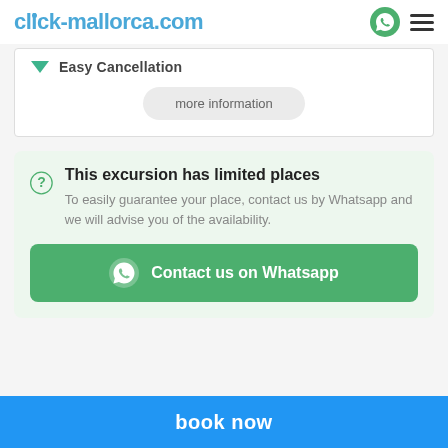click-mallorca.com
Easy Cancellation
more information
This excursion has limited places
To easily guarantee your place, contact us by Whatsapp and we will advise you of the availability.
Contact us on Whatsapp
book now